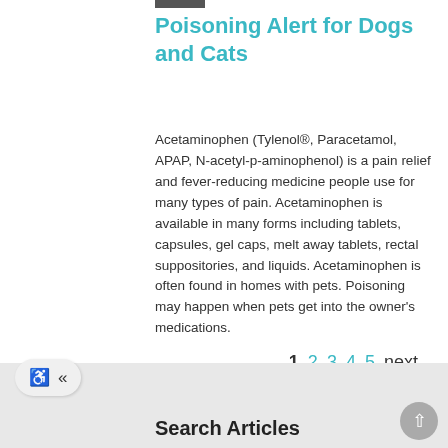Poisoning Alert for Dogs and Cats
Acetaminophen (Tylenol®, Paracetamol, APAP, N-acetyl-p-aminophenol) is a pain relief and fever-reducing medicine people use for many types of pain. Acetaminophen is available in many forms including tablets, capsules, gel caps, melt away tablets, rectal suppositories, and liquids. Acetaminophen is often found in homes with pets. Poisoning may happen when pets get into the owner's medications.
1 2 3 4 5 next
Search Articles